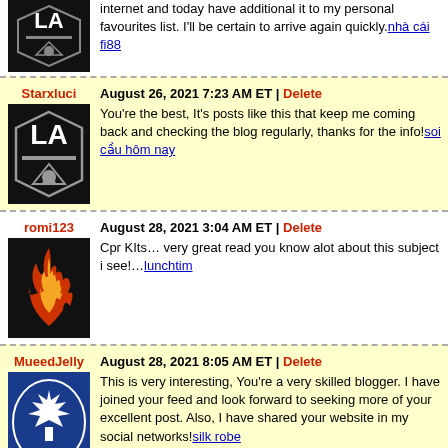internet and today have additional it to my personal favourites list. I'll be certain to arrive again quickly. nhà cái fi88
Starxluci
August 26, 2021 7:23 AM ET | Delete
You're the best, It's posts like this that keep me coming back and checking the blog regularly, thanks for the info! soi cầu hôm nay
romi123
August 28, 2021 3:04 AM ET | Delete
Cpr KIts… very great read you know alot about this subject i see!… lunchtime
MueedJelly
August 28, 2021 8:05 AM ET | Delete
This is very interesting, You're a very skilled blogger. I have joined your feed and look forward to seeking more of your excellent post. Also, I have shared your website in my social networks! silk robe
uzairkhatri
August 29, 2021 7:09 AM ET | Delete
Wow! what an idea ! What a concept ! Lovely… Incredible best price cummins